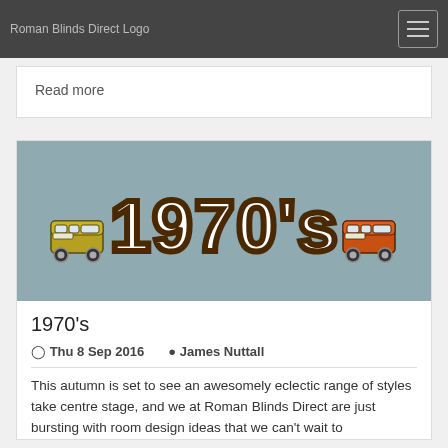Roman Blinds Direct Logo [navigation bar]
Read more
[Figure (illustration): 1970's retro banner image with daisy/floral pattern background in grey-blue, large groovy bubble letters spelling '1970's' in brown outline with white fill, flanked by two VW camper van illustrations (yellow-green on left, orange on right).]
1970's
Thu 8 Sep 2016   James Nuttall
This autumn is set to see an awesomely eclectic range of styles take centre stage, and we at Roman Blinds Direct are just bursting with room design ideas that we can't wait to